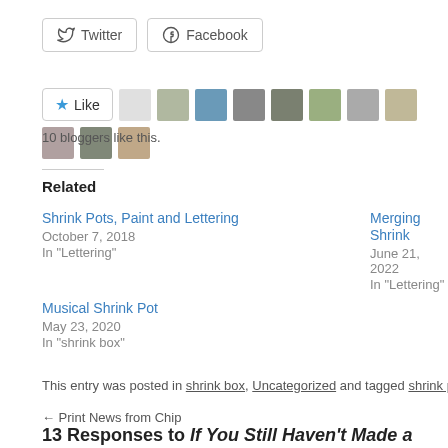[Figure (other): Twitter and Facebook share buttons]
[Figure (other): Like button with star icon and blogger avatars row]
10 bloggers like this.
Related
Shrink Pots, Paint and Lettering
October 7, 2018
In "Lettering"
Merging Shrink...
June 21, 2022
In "Lettering"
Musical Shrink Pot
May 23, 2020
In "shrink box"
This entry was posted in shrink box, Uncategorized and tagged shrink pot. Bo
← Print News from Chip
13 Responses to If You Still Haven't Made a